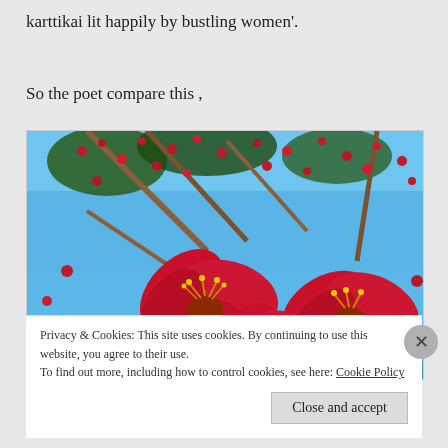karttikai lit happily by bustling women'.
So the poet compare this ,
[Figure (photo): Close-up photograph of vivid red tropical flowers (Bombax ceiba / silk cotton tree) in bloom against a bright blue sky, with branches and buds visible in the background.]
Privacy & Cookies: This site uses cookies. By continuing to use this website, you agree to their use.
To find out more, including how to control cookies, see here: Cookie Policy
Close and accept